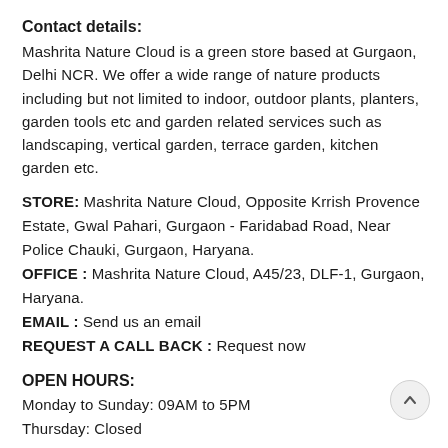Contact details:
Mashrita Nature Cloud is a green store based at Gurgaon, Delhi NCR. We offer a wide range of nature products including but not limited to indoor, outdoor plants, planters, garden tools etc and garden related services such as landscaping, vertical garden, terrace garden, kitchen garden etc.
STORE: Mashrita Nature Cloud, Opposite Krrish Provence Estate, Gwal Pahari, Gurgaon - Faridabad Road, Near Police Chauki, Gurgaon, Haryana.
OFFICE : Mashrita Nature Cloud, A45/23, DLF-1, Gurgaon, Haryana.
EMAIL : Send us an email
REQUEST A CALL BACK : Request now
OPEN HOURS:
Monday to Sunday: 09AM to 5PM
Thursday: Closed
A Step towards better We!
We understand, promoting green is an integrated solution for environmental problems, Mashrita.com established in the year